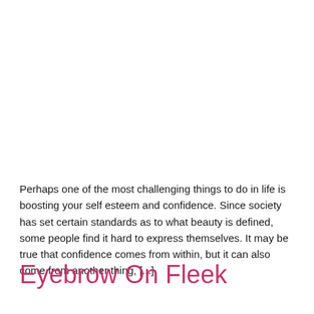Perhaps one of the most challenging things to do in life is boosting your self esteem and confidence. Since society has set certain standards as to what beauty is defined, some people find it hard to express themselves. It may be true that confidence comes from within, but it can also come from another thing, [...]
Eyebrow On Fleek